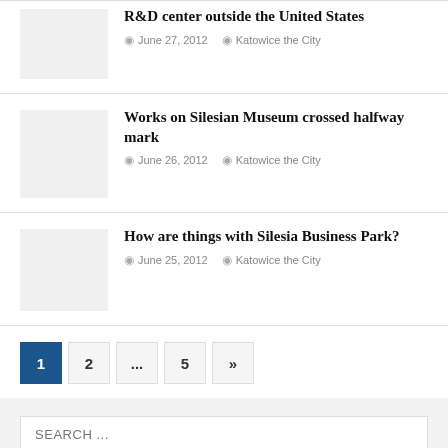R&D center outside the United States
June 27, 2012  Katowice the City
Works on Silesian Museum crossed halfway mark
June 26, 2012  Katowice the City
How are things with Silesia Business Park?
June 25, 2012  Katowice the City
Pagination: 1 2 ... 5 »
SEARCH ...